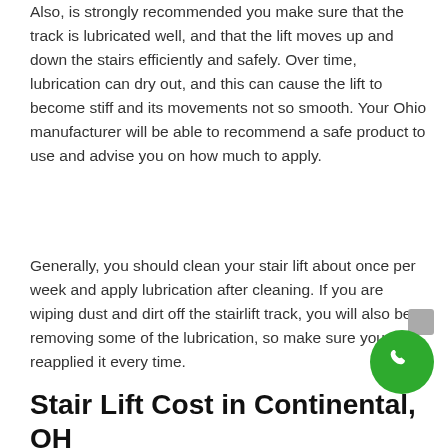Also, is strongly recommended you make sure that the track is lubricated well, and that the lift moves up and down the stairs efficiently and safely. Over time, lubrication can dry out, and this can cause the lift to become stiff and its movements not so smooth. Your Ohio manufacturer will be able to recommend a safe product to use and advise you on how much to apply.
Generally, you should clean your stair lift about once per week and apply lubrication after cleaning. If you are wiping dust and dirt off the stairlift track, you will also be removing some of the lubrication, so make sure you reapplied it every time.
Stair Lift Cost in Continental, OH